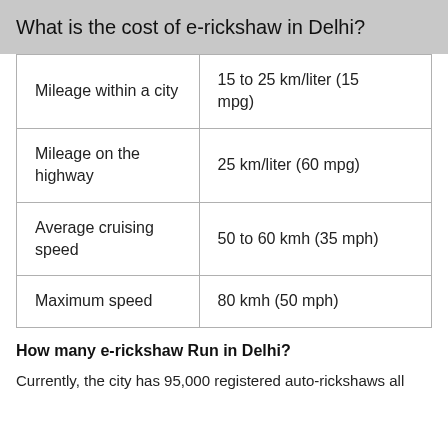What is the cost of e-rickshaw in Delhi?
| Mileage within a city | 15 to 25 km/liter (15 mpg) |
| Mileage on the highway | 25 km/liter (60 mpg) |
| Average cruising speed | 50 to 60 kmh (35 mph) |
| Maximum speed | 80 kmh (50 mph) |
How many e-rickshaw Run in Delhi?
Currently, the city has 95,000 registered auto-rickshaws all